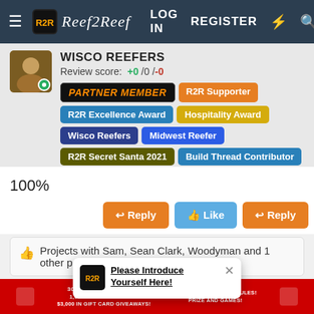Reef2Reef — LOG IN   REGISTER
WISCO REEFERS
Review score: +0 /0 /-0
[Figure (screenshot): User badges: PARTNER MEMBER, R2R Supporter, R2R Excellence Award, Hospitality Award, Wisco Reefers, Midwest Reefer, R2R Secret Santa 2021, Build Thread Contributor]
100%
[Figure (screenshot): Action buttons: Reply, Like, Reply]
Projects with Sam, Sean Clark, Woodyman and 1 other person
[Figure (screenshot): Popup notification: Please Introduce Yourself Here!]
300 CORALS PRESENTS — 1,000 WYSWYG CORALS! $3,000 IN GIFT CARD GIVEAWAYS! 10 FREE SHIPPING MODULES! PRIZE AND GAMES!